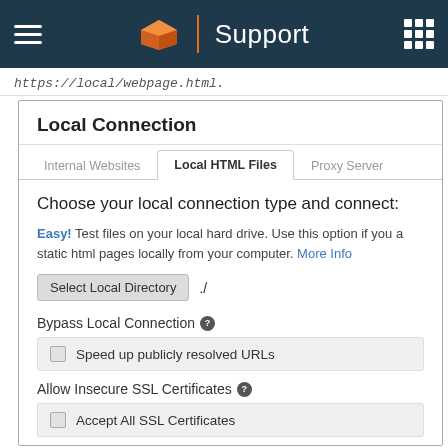Support
https://local/webpage.html.
Local Connection
Internal Websites | Local HTML Files | Proxy Server
Choose your local connection type and connect:
Easy! Test files on your local hard drive. Use this option if you a static html pages locally from your computer. More Info
Select Local Directory   ./
Bypass Local Connection
Speed up publicly resolved URLs
Allow Insecure SSL Certificates
Accept All SSL Certificates